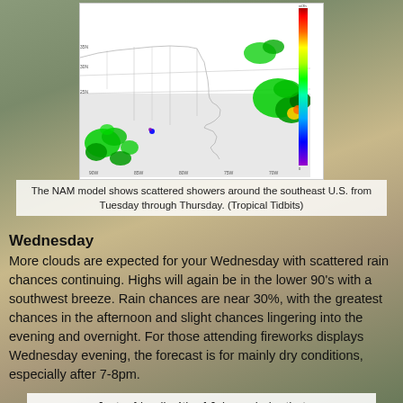[Figure (map): NAM model radar/precipitation map showing scattered showers around the southeast U.S. Green areas indicate precipitation, with heavier amounts shown in darker green and yellow/red. A color scale legend is on the right side.]
The NAM model shows scattered showers around the southeast U.S. from Tuesday through Thursday. (Tropical Tidbits)
Wednesday
More clouds are expected for your Wednesday with scattered rain chances continuing. Highs will again be in the lower 90's with a southwest breeze. Rain chances are near 30%, with the greatest chances in the afternoon and slight chances lingering into the evening and overnight. For those attending fireworks displays Wednesday evening, the forecast is for mainly dry conditions, especially after 7-8pm.
Just a friendly 4th of July reminder that